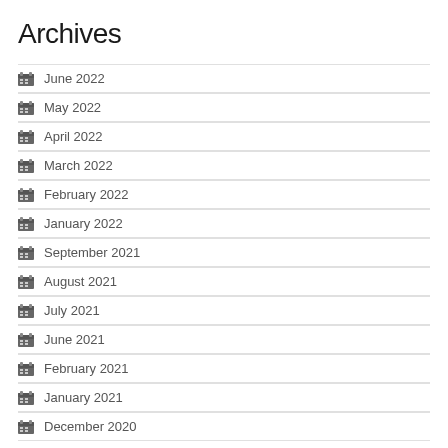Archives
June 2022
May 2022
April 2022
March 2022
February 2022
January 2022
September 2021
August 2021
July 2021
June 2021
February 2021
January 2021
December 2020